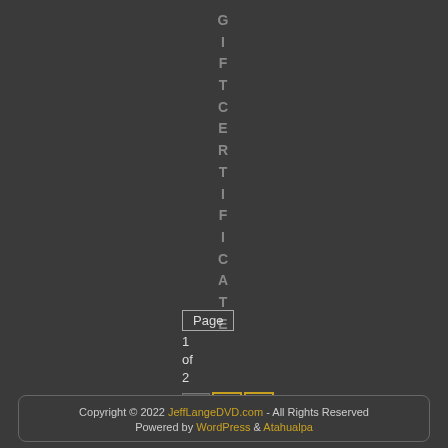GIFT CERTIFICATE
Page 1 of 2
Copyright © 2022 JeffLangeDVD.com - All Rights Reserved Powered by WordPress & Atahualpa